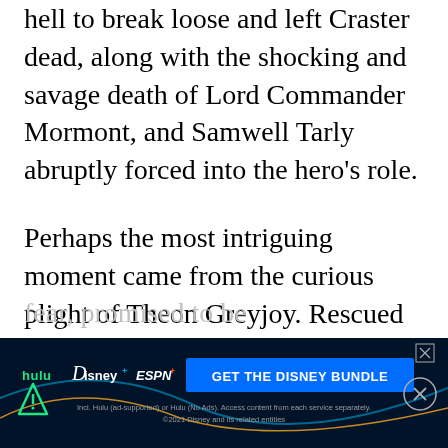hell to break loose and left Craster dead, along with the shocking and savage death of Lord Commander Mormont, and Samwell Tarly abruptly forced into the hero's role.
Perhaps the most intriguing moment came from the curious plight of Theon Greyjoy. Rescued from his brutal torture by a strange and unknown ally,
fear, promised to be
[Figure (other): Advertisement banner for Disney Bundle featuring Hulu, Disney+, and ESPN+ logos with 'GET THE DISNEY BUNDLE' CTA button. Dark blue/black background with disclaimer text.]